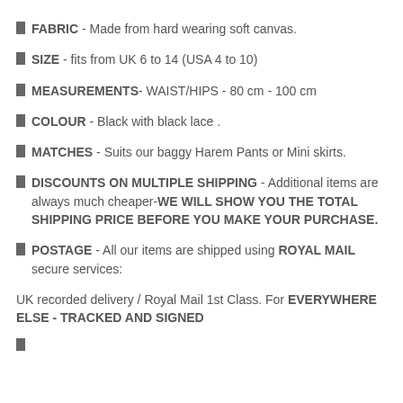FABRIC - Made from hard wearing soft canvas.
SIZE - fits from UK 6 to 14 (USA 4 to 10)
MEASUREMENTS- WAIST/HIPS - 80 cm - 100 cm
COLOUR - Black with black lace .
MATCHES - Suits our baggy Harem Pants or Mini skirts.
DISCOUNTS ON MULTIPLE SHIPPING - Additional items are always much cheaper-WE WILL SHOW YOU THE TOTAL SHIPPING PRICE BEFORE YOU MAKE YOUR PURCHASE.
POSTAGE - All our items are shipped using ROYAL MAIL secure services:
UK recorded delivery / Royal Mail 1st Class. For EVERYWHERE ELSE - TRACKED AND SIGNED